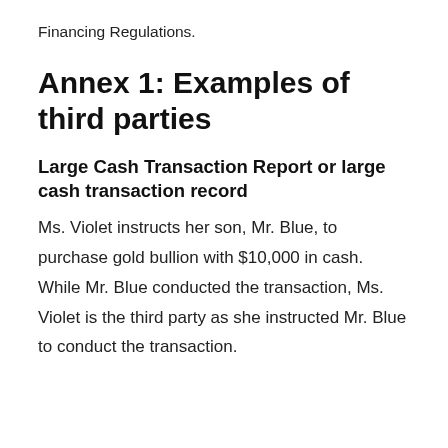Financing Regulations.
Annex 1: Examples of third parties
Large Cash Transaction Report or large cash transaction record
Ms. Violet instructs her son, Mr. Blue, to purchase gold bullion with $10,000 in cash. While Mr. Blue conducted the transaction, Ms. Violet is the third party as she instructed Mr. Blue to conduct the transaction.